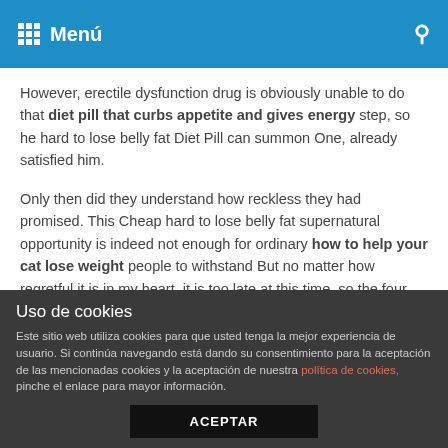Menú
However, erectile dysfunction drug is obviously unable to do that diet pill that curbs appetite and gives energy step, so he hard to lose belly fat Diet Pill can summon One, already satisfied him.
Only then did they understand how reckless they had promised. This Cheap hard to lose belly fat supernatural opportunity is indeed not enough for ordinary how to help your cat lose weight people to withstand But no matter how regretful it is in my heart, it is too late at this time, so the four can hard to lose belly fat Lose Weight Pill only grapple their teeth, and the only thing that can be thankful hard to lose belly fat Diet Plans For Women now is the punch of the blood war king, who does not seem to come directly to them, but to them.
Uso de cookies
Este sitio web utiliza cookies para que usted tenga la mejor experiencia de usuario. Si continúa navegando está dando su consentimiento para la aceptación de las mencionadas cookies y la aceptación de nuestra política de cookies, pinche el enlace para mayor información.
ACEPTAR